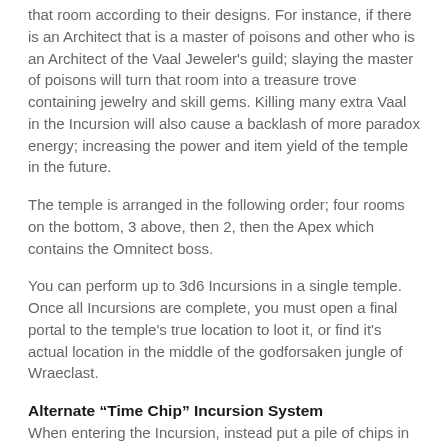that room according to their designs. For instance, if there is an Architect that is a master of poisons and other who is an Architect of the Vaal Jeweler's guild; slaying the master of poisons will turn that room into a treasure trove containing jewelry and skill gems. Killing many extra Vaal in the Incursion will also cause a backlash of more paradox energy; increasing the power and item yield of the temple in the future.
The temple is arranged in the following order; four rooms on the bottom, 3 above, then 2, then the Apex which contains the Omnitect boss.
You can perform up to 3d6 Incursions in a single temple. Once all Incursions are complete, you must open a final portal to the temple's true location to loot it, or find it's actual location in the middle of the godforsaken jungle of Wraeclast.
Alternate “Time Chip” Incursion System
When entering the Incursion, instead put a pile of chips in the center of the table. These will represent the number of rounds the party can stay. Put 3x number of people entering